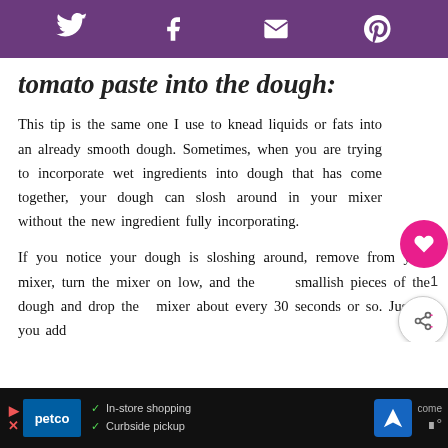Social share toolbar with Twitter, Facebook, Email, Pinterest icons
tomato paste into the dough:
This tip is the same one I use to knead liquids or fats into an already smooth dough. Sometimes, when you are trying to incorporate wet ingredients into dough that has come together, your dough can slosh around in your mixer without the new ingredient fully incorporating.
If you notice your dough is sloshing around, remove from your mixer, turn the mixer on low, and then off, smallish pieces of the dough and drop them mixer about every 30 seconds or so. Just as you add
[Figure (screenshot): WHAT'S NEXT Cranberry Pumpkin Rolls overlay with thumbnail image]
Advertisement bar: Petco - In-store shopping, Curbside pickup